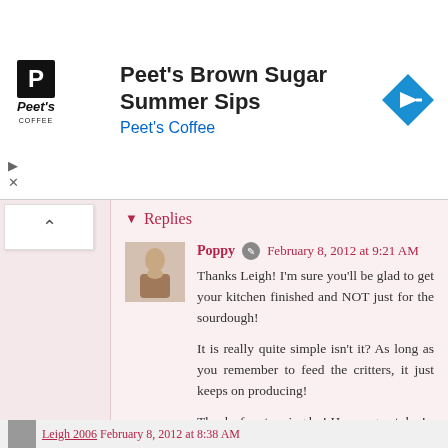[Figure (infographic): Peet's Coffee advertisement banner with logo, text 'Peet's Brown Sugar Summer Sips / Peet's Coffee', and a blue diamond arrow icon. Play and close controls at bottom left.]
Replies
Poppy  February 8, 2012 at 9:21 AM
Thanks Leigh! I'm sure you'll be glad to get your kitchen finished and NOT just for the sourdough!

It is really quite simple isn't it? As long as you remember to feed the critters, it just keeps on producing!

Thanks for stopping by! Have a great day!
Reply